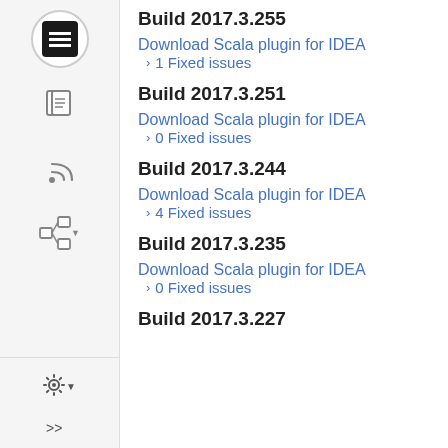Build 2017.3.255
Download Scala plugin for IDEA
1 Fixed issues
Build 2017.3.251
Download Scala plugin for IDEA
0 Fixed issues
Build 2017.3.244
Download Scala plugin for IDEA
4 Fixed issues
Build 2017.3.235
Download Scala plugin for IDEA
0 Fixed issues
Build 2017.3.227